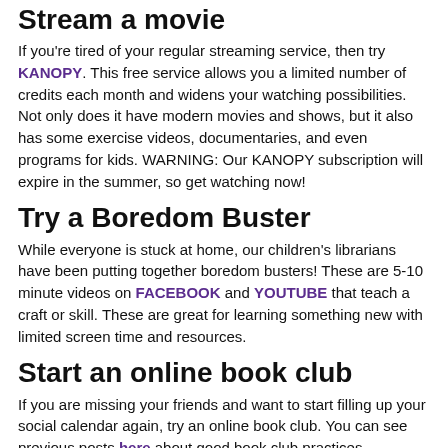Stream a movie
If you're tired of your regular streaming service, then try KANOPY. This free service allows you a limited number of credits each month and widens your watching possibilities. Not only does it have modern movies and shows, but it also has some exercise videos, documentaries, and even programs for kids. WARNING: Our KANOPY subscription will expire in the summer, so get watching now!
Try a Boredom Buster
While everyone is stuck at home, our children's librarians have been putting together boredom busters! These are 5-10 minute videos on FACEBOOK and YOUTUBE that teach a craft or skill. These are great for learning something new with limited screen time and resources.
Start an online book club
If you are missing your friends and want to start filling up your social calendar again, try an online book club. You can see previous posts here about good book club practices. Additionally, we added this post on digital book clubs just a little while ago. The benefit of an online book club is that you can do activities and discussions with your friends, create new friends in the book characters, and satisfy your need for socializing without breaking any social distancing rules.